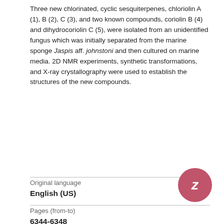Three new chlorinated, cyclic sesquiterpenes, chloriolin A (1), B (2), C (3), and two known compounds, coriolin B (4) and dihydrocoriolin C (5), were isolated from an unidentified fungus which was initially separated from the marine sponge Jaspis aff. johnstoni and then cultured on marine media. 2D NMR experiments, synthetic transformations, and X-ray crystallography were used to establish the structures of the new compounds.
| Field | Value |
| --- | --- |
| Original language | English (US) |
| Pages (from-to) | 6344-6348 |
| Number of pages | 5 |
| Journal | Journal of Organic Chemistry |
| Volume | 59 |
| Issue number |  |